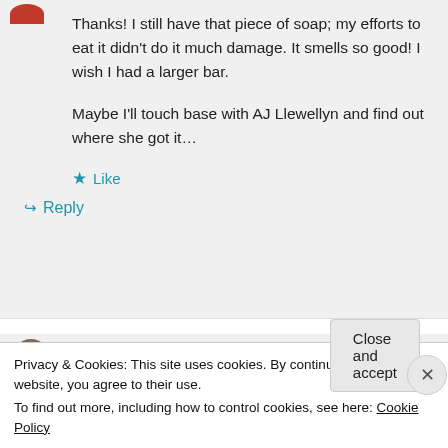Thanks! I still have that piece of soap; my efforts to eat it didn't do it much damage. It smells so good! I wish I had a larger bar.

Maybe I'll touch base with AJ Llewellyn and find out where she got it…
★ Like
↪ Reply
Denise Golinowski on October 02, 2013 at 5:41 pm
Privacy & Cookies: This site uses cookies. By continuing to use this website, you agree to their use.
To find out more, including how to control cookies, see here: Cookie Policy
Close and accept